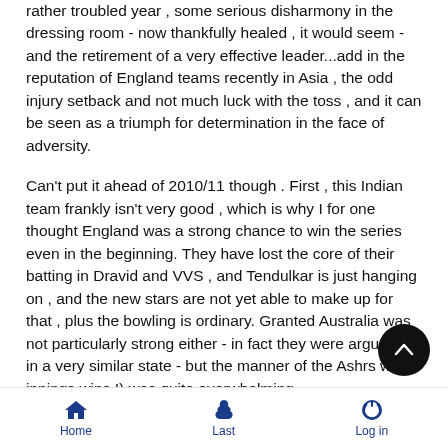rather troubled year , some serious disharmony in the dressing room - now thankfully healed , it would seem - and the retirement of a very effective leader...add in the reputation of England teams recently in Asia , the odd injury setback and not much luck with the toss , and it can be seen as a triumph for determination in the face of adversity.
Can't put it ahead of 2010/11 though . First , this Indian team frankly isn't very good , which is why I for one thought England was a strong chance to win the series even in the beginning. They have lost the core of their batting in Dravid and VVS , and Tendulkar is just hanging on , and the new stars are not yet able to make up for that , plus the bowling is ordinary. Granted Australia was not particularly strong either - in fact they were arguably in a very similar state - but the manner of the Ashrs win (3 innings wins !) was quite overwhelming.
And perhaps the main issue is that the Ashes win followed no